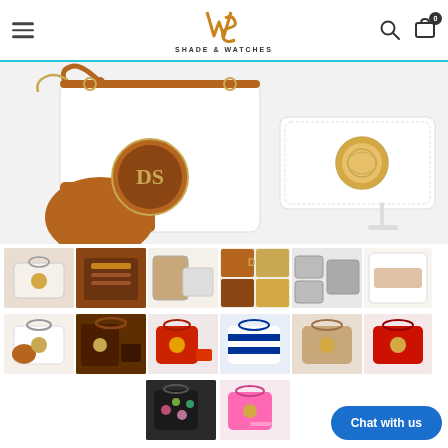SHADE & WATCHES
[Figure (photo): Main product photo showing a white and brown designer handbag set with 'DS' monogram and a white wristlet wallet with gold medallion hardware]
[Figure (photo): Thumbnail row 1: 6 product thumbnails showing various angles and color variants of the handbag set]
[Figure (photo): Thumbnail row 2: 5 product thumbnails showing brown/white, dark brown, red, blue striped, tan variants]
[Figure (photo): Thumbnail row 3: 2 product thumbnails - floral black bag and pink bag]
Chat with us